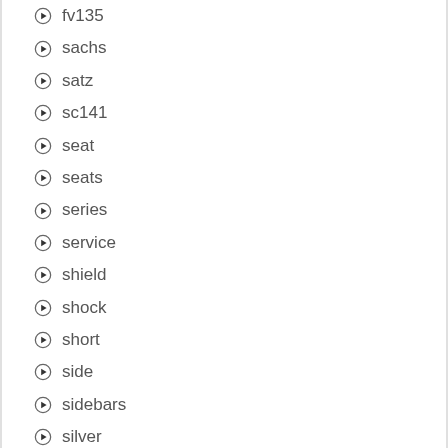fv135
sachs
satz
sc141
seat
seats
series
service
shield
shock
short
side
sidebars
silver